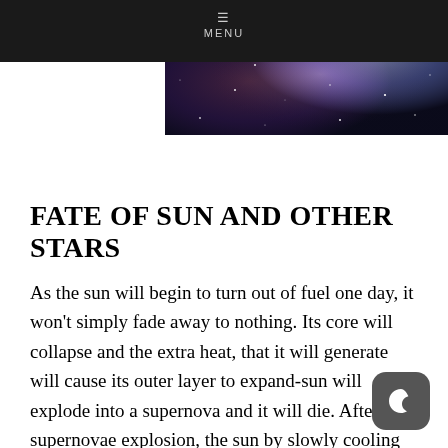[Figure (photo): A nebula/galaxy image showing colorful cosmic clouds in pink, purple, and blue with stars, partially overlaid by a dark navigation bar with MENU text at top]
FATE OF SUN AND OTHER STARS
As the sun will begin to turn out of fuel one day, it won't simply fade away to nothing. Its core will collapse and the extra heat, that it will generate will cause its outer layer to expand-sun will explode into a supernova and it will die. After the supernovae explosion, the sun by slowly cooling in the